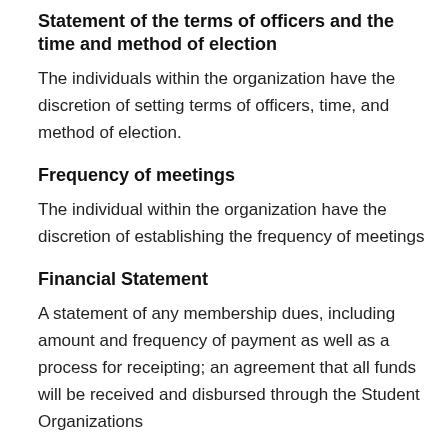Statement of the terms of officers and the time and method of election
The individuals within the organization have the discretion of setting terms of officers, time, and method of election.
Frequency of meetings
The individual within the organization have the discretion of establishing the frequency of meetings
Financial Statement
A statement of any membership dues, including amount and frequency of payment as well as a process for receipting; an agreement that all funds will be received and disbursed through the Student Organizations